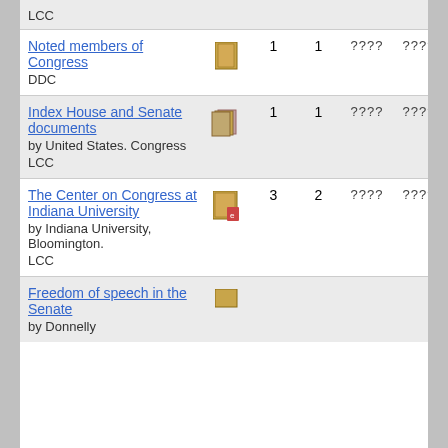LCC
| Title | Icon | Col1 | Col2 | Col3 | Col4 |
| --- | --- | --- | --- | --- | --- |
| Noted members of Congress
DDC | [book icon] | 1 | 1 | ???? | ???? |
| Index House and Senate documents
by United States. Congress
LCC | [books icon] | 1 | 1 | ???? | ???? |
| The Center on Congress at Indiana University
by Indiana University, Bloomington.
LCC | [ebook icon] | 3 | 2 | ???? | ???? |
| Freedom of speech in the Senate
by Donnelly | [book icon] |  |  |  |  |